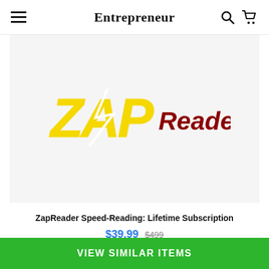Entrepreneur
[Figure (logo): ZapReader logo with lightning bolt design, yellow and dark red text on light gray background]
ZapReader Speed-Reading: Lifetime Subscription
$39.99  $499
[Figure (photo): Partial view of a laptop screen and brick wall background — next product preview strip]
VIEW SIMILAR ITEMS